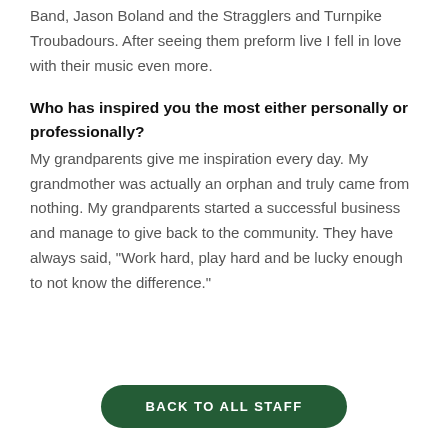Band, Jason Boland and the Stragglers and Turnpike Troubadours. After seeing them preform live I fell in love with their music even more.
Who has inspired you the most either personally or professionally?
My grandparents give me inspiration every day. My grandmother was actually an orphan and truly came from nothing. My grandparents started a successful business and manage to give back to the community. They have always said, "Work hard, play hard and be lucky enough to not know the difference."
BACK TO ALL STAFF